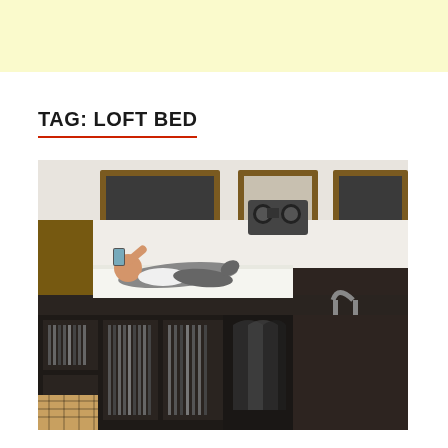TAG: LOFT BED
[Figure (photo): A person lying on a dark wood loft bed platform, reading on a tablet/phone. The loft bed has built-in shelving with vinyl records and books below, a wardrobe/closet area, and a ladder on the right side. A boombox sits on a shelf in the background, and the room has wooden-framed windows.]
≡